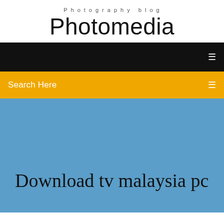Photography blog
Photomedia
[Figure (screenshot): Black navigation bar with white menu icon on right]
Search Here
Download tv malaysia pc